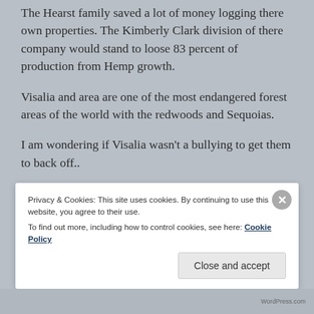The Hearst family saved a lot of money logging there own properties. The Kimberly Clark division of there company would stand to loose 83 percent of production from Hemp growth.
Visalia and area are one of the most endangered forest areas of the world with the redwoods and Sequoias.
I am wondering if Visalia wasn't a bullying to get them to back off..
Privacy & Cookies: This site uses cookies. By continuing to use this website, you agree to their use.
To find out more, including how to control cookies, see here: Cookie Policy
Close and accept